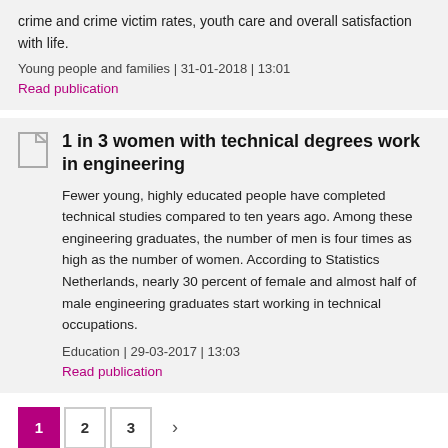crime and crime victim rates, youth care and overall satisfaction with life.
Young people and families | 31-01-2018 | 13:01
Read publication
1 in 3 women with technical degrees work in engineering
Fewer young, highly educated people have completed technical studies compared to ten years ago. Among these engineering graduates, the number of men is four times as high as the number of women. According to Statistics Netherlands, nearly 30 percent of female and almost half of male engineering graduates start working in technical occupations.
Education | 29-03-2017 | 13:03
Read publication
1 2 3 →